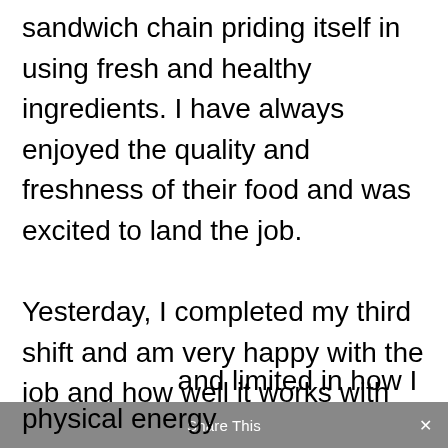sandwich chain priding itself in using fresh and healthy ingredients. I have always enjoyed the quality and freshness of their food and was excited to land the job.

Yesterday, I completed my third shift and am very happy with the job and how well it works with my health condition. Already, I can feel an improvement in my mood and physical energy and limited in how I
Share This